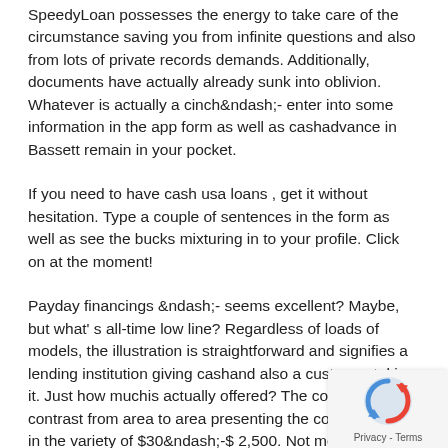SpeedyLoan possesses the energy to take care of the circumstance saving you from infinite questions and also from lots of private records demands. Additionally, documents have actually already sunk into oblivion. Whatever is actually a cinch&amp;ndash;- enter into some information in the app form as well as cashadvance in Bassett remain in your pocket.
If you need to have cash usa loans , get it without hesitation. Type a couple of sentences in the form as well as see the bucks mixturing in to your profile. Click on at the moment!
Payday financings &amp;ndash;- seems excellent? Maybe, but what' s all-time low line? Regardless of loads of models, the illustration is straightforward and signifies a lending institution giving cashand also a customer taking it. Just how muchis actually offered? The constraints contrast from area to area presenting the common sum in the variety of $30&amp;ndash;-$ 2,500. Not merely the regulations yet the finance companies likewise differ